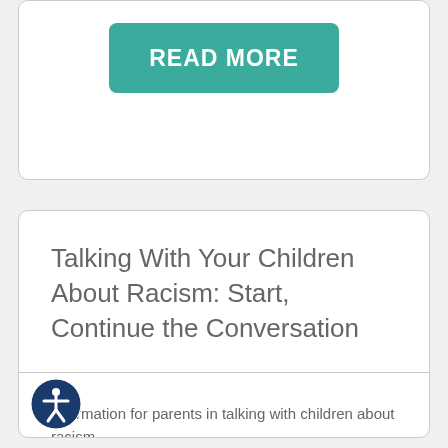READ MORE
Talking With Your Children About Racism: Start, Continue the Conversation
Information for parents in talking with children about racism.
READ MORE